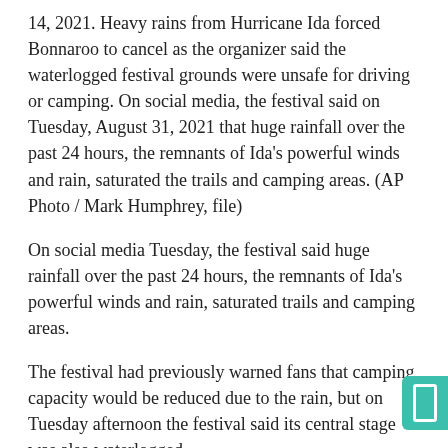14, 2021. Heavy rains from Hurricane Ida forced Bonnaroo to cancel as the organizer said the waterlogged festival grounds were unsafe for driving or camping. On social media, the festival said on Tuesday, August 31, 2021 that huge rainfall over the past 24 hours, the remnants of Ida's powerful winds and rain, saturated the trails and camping areas. (AP Photo / Mark Humphrey, file)
On social media Tuesday, the festival said huge rainfall over the past 24 hours, the remnants of Ida's powerful winds and rain, saturated trails and camping areas.
The festival had previously warned fans that camping capacity would be reduced due to the rain, but on Tuesday afternoon the festival said its central stage was also waterlogged.
Artists who were slated to make headlines include Tyler, the creator, deadmau5, Lizzo, My Morning Jacket, Foo Fighters and Megan Thee Stallion.
Festival attendance in 2019 was around 80,000 people, but last year's event has been postponed to this year due to the COVID-19 pandemic. Refunds were offered to f...